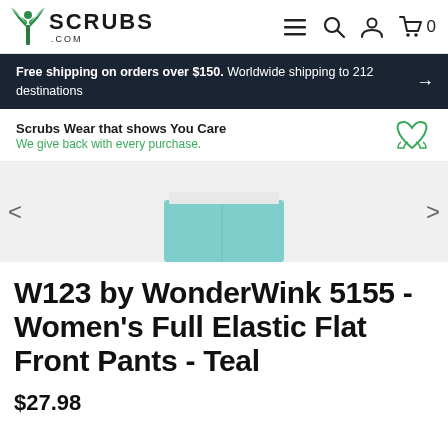SCRUBS .COM
Free shipping on orders over $150. Worldwide shipping to 212 destinations
Scrubs Wear that shows You Care
We give back with every purchase.
[Figure (photo): Product image showing woman wearing teal scrub pants with white top, cropped view of torso]
W123 by WonderWink 5155 - Women's Full Elastic Flat Front Pants - Teal
$27.98